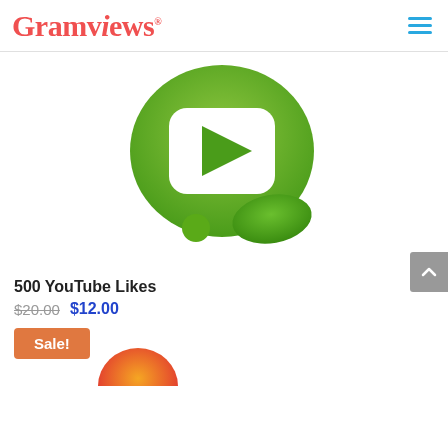Gramviews
[Figure (logo): Green YouTube-style play button logo with a speech bubble shape and a small green circle, gradient green colors]
500 YouTube Likes
$20.00 $12.00
Sale!